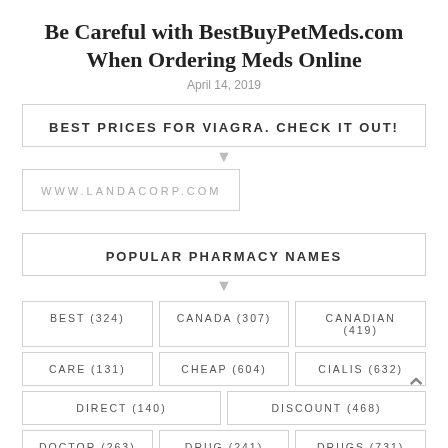Be Careful with BestBuyPetMeds.com When Ordering Meds Online
April 14, 2019
BEST PRICES FOR VIAGRA. CHECK IT OUT!
WWW.LANDACORP.COM
POPULAR PHARMACY NAMES
BEST (324)
CANADA (307)
CANADIAN (419)
CARE (131)
CHEAP (604)
CIALIS (632)
DIRECT (140)
DISCOUNT (468)
DOCTOR (263)
DRUG (241)
DRUGS (731)